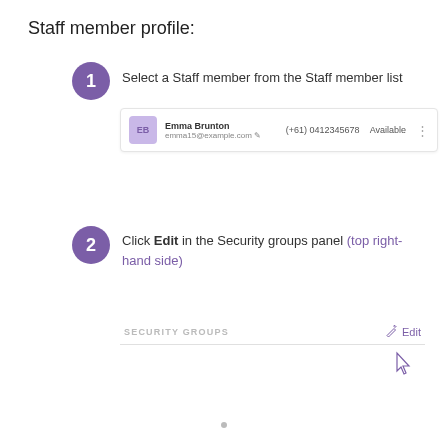Staff member profile:
1. Select a Staff member from the Staff member list
[Figure (screenshot): UI card showing staff member Emma Brunton with email emma15@example.com, phone (+61) 0412345678, status Available, and a three-dot menu icon]
2. Click Edit in the Security groups panel (top right-hand side)
[Figure (screenshot): Security groups panel header with SECURITY GROUPS label on the left and a pencil icon with Edit text on the right, with a cursor hovering over the Edit button, and a horizontal divider line below]